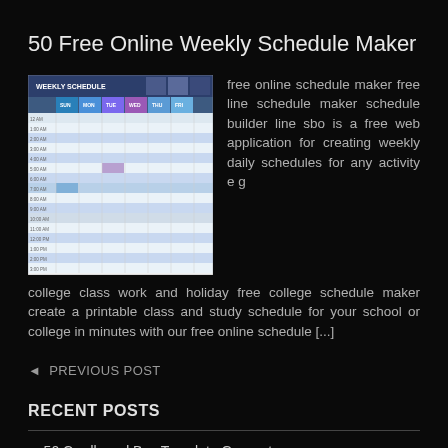50 Free Online Weekly Schedule Maker
[Figure (screenshot): Screenshot of a weekly schedule spreadsheet with colored headers for days of the week and time slots listed in rows]
free online schedule maker free line schedule maker schedule builder line sbo is a free web application for creating weekly daily schedules for any activity e g college class work and holiday free college schedule maker create a printable class and study schedule for your school or college in minutes with our free online schedule [...]
◄ PREVIOUS POST
RECENT POSTS
50 Cardboard Box Template Generator